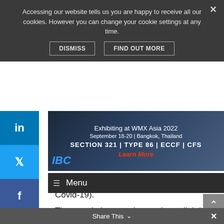Accessing our website tells us you are happy to receive all our cookies. However you can change your cookie settings at any time.
DISMISS   FIND OUT MORE
[Figure (screenshot): Advertisement banner for IBC showing WMX Asia 2022 event, September 18-20, Bangkok, Thailand. SECTION 321 | TYPE 86 | ECCF | CFS. Learn More link in red.]
Menu
Covid-19).
The margin improved strongly to slightly above 9%, a significant step-up from 5.3% in Q3 2021. PostNL's network, combined with its excellent peak season preparation, again shows the robustness of the business model even in these challenging times.